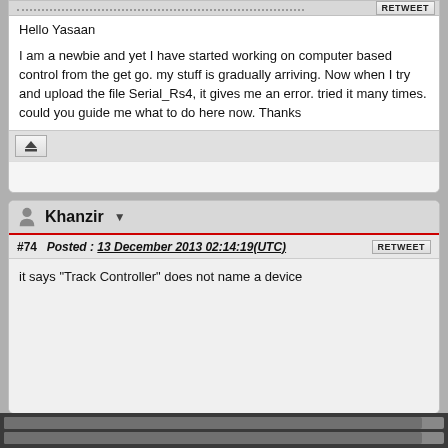Hello Yasaan

I am a newbie and yet I have started working on computer based control from the get go. my stuff is gradually arriving. Now when I try and upload the file Serial_Rs4, it gives me an error. tried it many times. could you guide me what to do here now. Thanks
Khanzir
#74  Posted :  13 December 2013 02:14:19(UTC)
it says "Track Controller" does not name a device